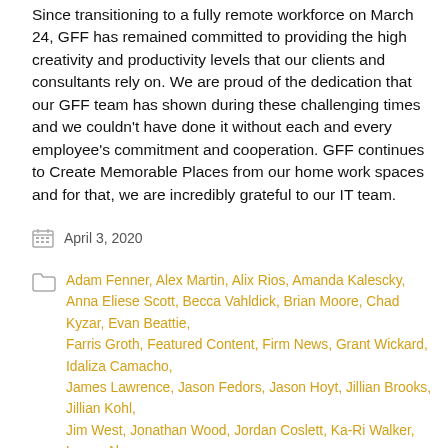Since transitioning to a fully remote workforce on March 24, GFF has remained committed to providing the high creativity and productivity levels that our clients and consultants rely on. We are proud of the dedication that our GFF team has shown during these challenging times and we couldn't have done it without each and every employee's commitment and cooperation. GFF continues to Create Memorable Places from our home work spaces and for that, we are incredibly grateful to our IT team.
April 3, 2020
Adam Fenner, Alex Martin, Alix Rios, Amanda Kalescky, Anna Eliese Scott, Becca Vahldick, Brian Moore, Chad Kyzar, Evan Beattie, Farris Groth, Featured Content, Firm News, Grant Wickard, Idaliza Camacho, James Lawrence, Jason Fedors, Jason Hoyt, Jillian Brooks, Jillian Kohl, Jim West, Jonathan Wood, Jordan Coslett, Ka-Ri Walker, Lance Abaya, Lena Starostine, Levi Hooten, Loren Boynton, Matt Frame, Maxine Kraft, Press Releases, Priscilla Almendariz, Ricardo Montoya, Rick Myers, Ross Charba, Sara Good, Scott Kanaga, Scott Sower, Scott Williams, Stephen Pickard, Stephen Wettermark, Talon McCart, Taylor Tillman, Tyler Cini